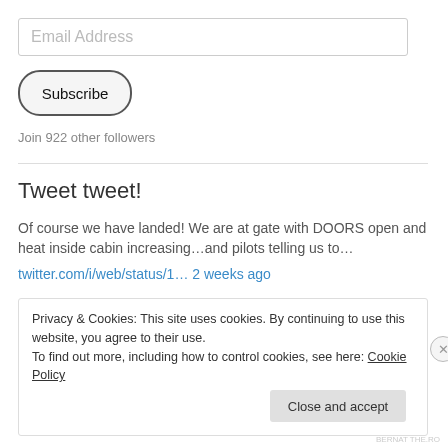Email Address
Subscribe
Join 922 other followers
Tweet tweet!
Of course we have landed! We are at gate with DOORS open and heat inside cabin increasing…and pilots telling us to…
twitter.com/i/web/status/1… 2 weeks ago
Privacy & Cookies: This site uses cookies. By continuing to use this website, you agree to their use.
To find out more, including how to control cookies, see here: Cookie Policy
Close and accept